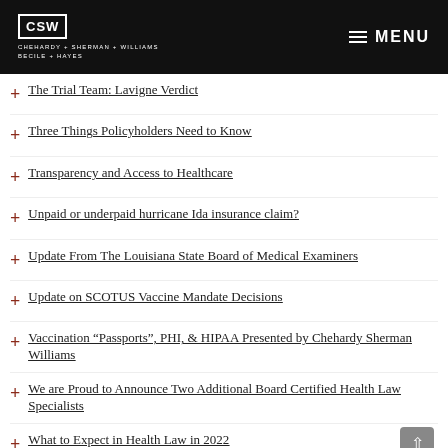CSW CHEHARDY + SHERMAN + WILLIAMS BECILE + HAYES | MENU
The Trial Team: Lavigne Verdict
Three Things Policyholders Need to Know
Transparency and Access to Healthcare
Unpaid or underpaid hurricane Ida insurance claim?
Update From The Louisiana State Board of Medical Examiners
Update on SCOTUS Vaccine Mandate Decisions
Vaccination “Passports”, PHI, & HIPAA Presented by Chehardy Sherman Williams
We are Proud to Announce Two Additional Board Certified Health Law Specialists
What to Expect in Health Law in 2022
Where there’s a will.... How to set your business and your